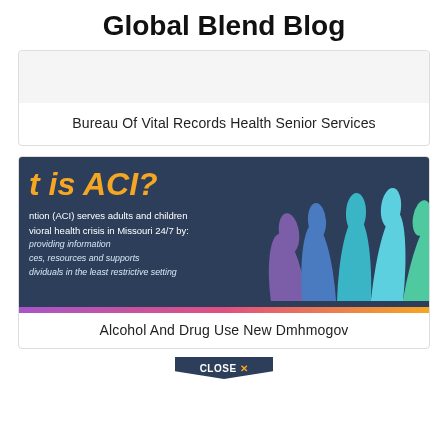Global Blend Blog
Bureau Of Vital Records Health Senior Services
[Figure (infographic): Infographic on dark navy background asking 't is ACI?' in orange bold italic text, with text stating 'ntion (ACI) serves adults and children vioral health crisis in Missouri 24/7 by:' and bullet points: 'providing information', 'ces, resources and supports', 'dividuals in the least restrictive setting'. Right side shows colorful raised hands silhouettes in purple, blue, teal, and green. Bottom has a rainbow gradient bar.]
Alcohol And Drug Use New Dmhmogov
CLOSE ✕